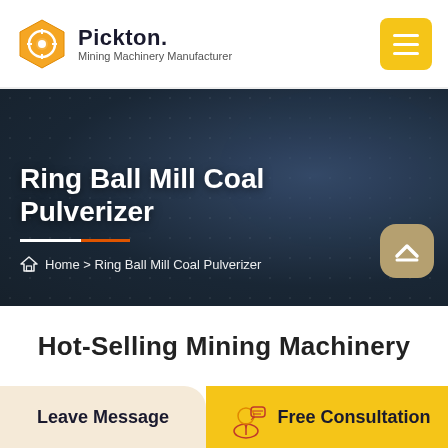[Figure (logo): Pickton hexagonal orange logo icon with inner circle and gear design]
Pickton. Mining Machinery Manufacturer
[Figure (screenshot): Yellow hamburger menu button in top right corner of navigation]
[Figure (photo): Dark blue industrial/mining machinery background hero banner]
Ring Ball Mill Coal Pulverizer
Home > Ring Ball Mill Coal Pulverizer
Hot-Selling Mining Machinery
Leave Message
Free Consultation